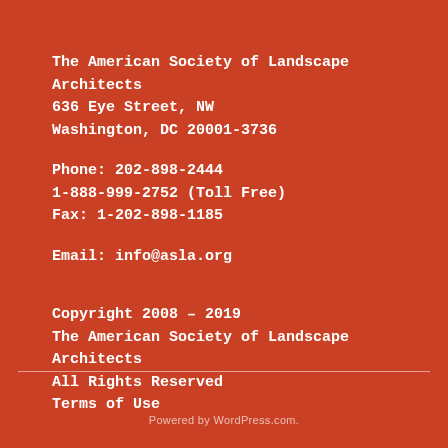The American Society of Landscape Architects
636 Eye Street, NW
Washington, DC 20001-3736
Phone: 202-898-2444
1-888-999-2752 (Toll Free)
Fax: 1-202-898-1185
Email: info@asla.org
Copyright 2008 – 2019
The American Society of Landscape Architects
All Rights Reserved
Terms of Use
Powered by WordPress.com.